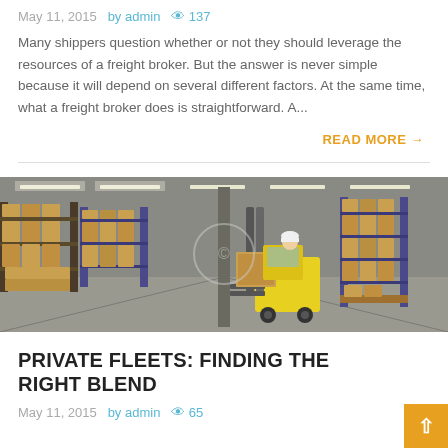May 11, 2015   by admin   👁 137
Many shippers question whether or not they should leverage the resources of a freight broker. But the answer is never simple because it will depend on several different factors. At the same time, what a freight broker does is straightforward. A...
READ MORE →
[Figure (photo): Warehouse interior with a worker on a yellow forklift moving boxes among tall shelving racks filled with cardboard boxes]
PRIVATE FLEETS: FINDING THE RIGHT BLEND
May 11, 2015   by admin   👁 65